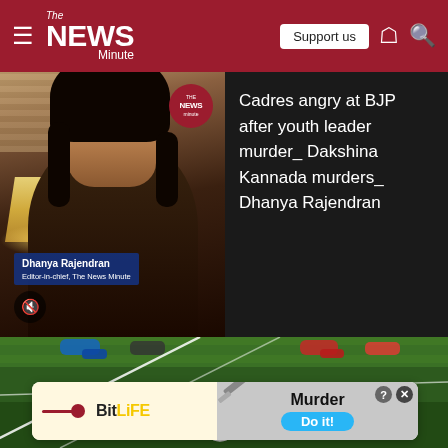The News Minute — Support us
[Figure (screenshot): Video thumbnail showing Dhanya Rajendran, Editor-in-chief of The News Minute, with name label overlay and TNM badge. Mute button visible bottom-left.]
Cadres angry at BJP after youth leader murder_ Dakshina Kannada murders_ Dhanya Rajendran
[Figure (photo): Football field with a soccer ball on green grass, with white marking lines visible. Players' feet visible at top of frame.]
[Figure (screenshot): BitLife mobile game advertisement: BitLife logo on left, pencil graphic on right with 'Murder' text and 'Do it!' blue button.]